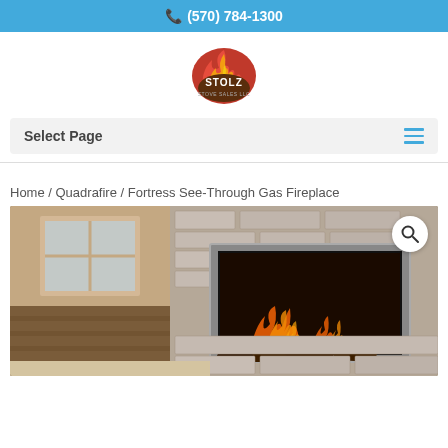(570) 784-1300
[Figure (logo): Stolz Stove Sales LLC logo with flame graphic]
Select Page
Home / Quadrafire / Fortress See-Through Gas Fireplace
[Figure (photo): Fortress See-Through Gas Fireplace installed in stone wall showing flames and logs visible through glass]